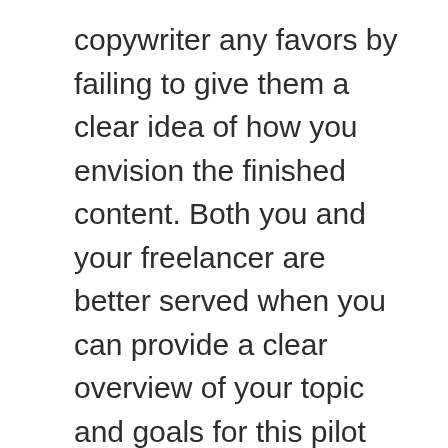copywriter any favors by failing to give them a clear idea of how you envision the finished content. Both you and your freelancer are better served when you can provide a clear overview of your topic and goals for this pilot deliverable.
I highly recommend writing a creative brief that delineates your expectations the final product. These may include:
Its topic